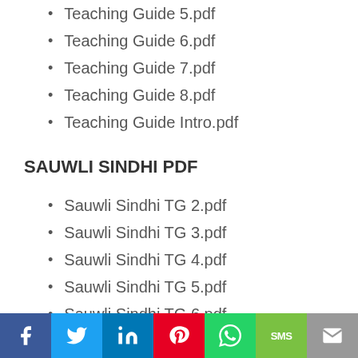Teaching Guide 5.pdf
Teaching Guide 6.pdf
Teaching Guide 7.pdf
Teaching Guide 8.pdf
Teaching Guide Intro.pdf
SAUWLI SINDHI PDF
Sauwli Sindhi TG 2.pdf
Sauwli Sindhi TG 3.pdf
Sauwli Sindhi TG 4.pdf
Sauwli Sindhi TG 5.pdf
Sauwli Sindhi TG 6.pdf
Sauwli Sindhi TG 7.pdf
Sauwli Sindhi TG 8.pdf
SCIENCE FACT FILE PDF